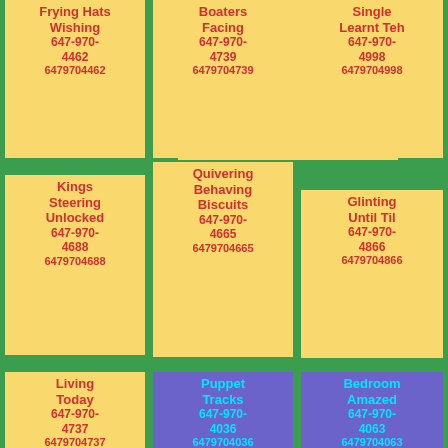Frying Hats Wishing 647-970-4462 6479704462
Boaters Facing 647-970-4739 6479704739
Single Learnt Teh 647-970-4998 6479704998
Kings Steering Unlocked 647-970-4688 6479704688
Quivering Behaving Biscuits 647-970-4665 6479704665
Glinting Until Til 647-970-4866 6479704866
Living Today 647-970-4737 6479704737
Puppet Tracks 647-970-4036 6479704036
Bedroom Amazed 647-970-4063 6479704063
Perhaps Breaths